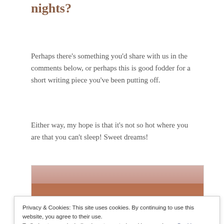nights?
Perhaps there's something you'd share with us in the comments below, or perhaps this is good fodder for a short writing piece you've been putting off.
Either way, my hope is that it's not so hot where you are that you can't sleep! Sweet dreams!
[Figure (photo): Sunset or sunrise image with reeds/grass silhouette and text 'Happy Summer Nights!' overlaid in white italic script]
Privacy & Cookies: This site uses cookies. By continuing to use this website, you agree to their use.
To find out more, including how to control cookies, see here: Cookie Policy
Close and accept